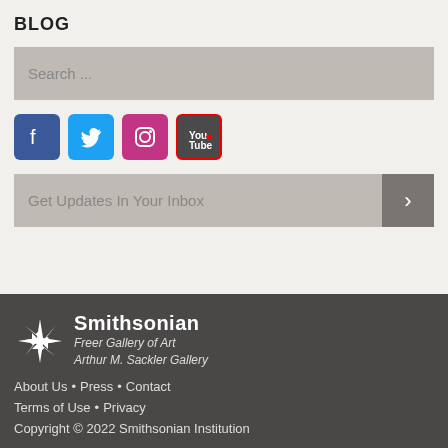BLOG
Search ...
[Figure (other): Social media icons: Facebook, Twitter, Instagram, YouTube]
Get Updates In Your Inbox
[Figure (logo): Smithsonian Freer Gallery of Art Arthur M. Sackler Gallery logo with sunburst icon]
About Us • Press • Contact
Terms of Use • Privacy
Copyright © 2022 Smithsonian Institution